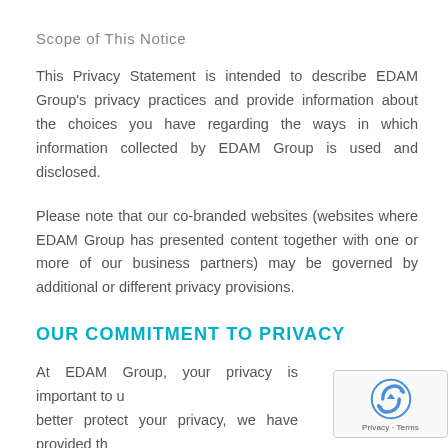Scope of This Notice
This Privacy Statement is intended to describe EDAM Group's privacy practices and provide information about the choices you have regarding the ways in which information collected by EDAM Group is used and disclosed.
Please note that our co-branded websites (websites where EDAM Group has presented content together with one or more of our business partners) may be governed by additional or different privacy provisions.
OUR COMMITMENT TO PRIVACY
At EDAM Group, your privacy is important to us. To better protect your privacy, we have provided this Privacy Statement detailing information on the...